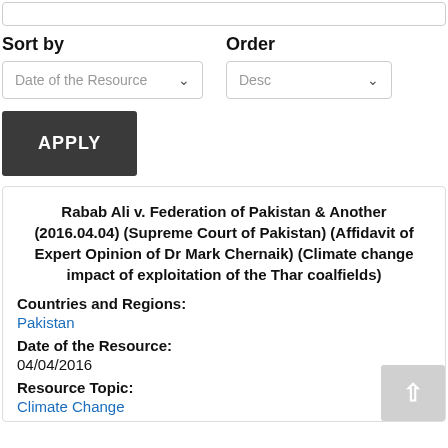Sort by
Order
Date of the Resource
Desc
APPLY
Rabab Ali v. Federation of Pakistan & Another (2016.04.04) (Supreme Court of Pakistan) (Affidavit of Expert Opinion of Dr Mark Chernaik) (Climate change impact of exploitation of the Thar coalfields)
Countries and Regions:
Pakistan
Date of the Resource:
04/04/2016
Resource Topic:
Climate Change